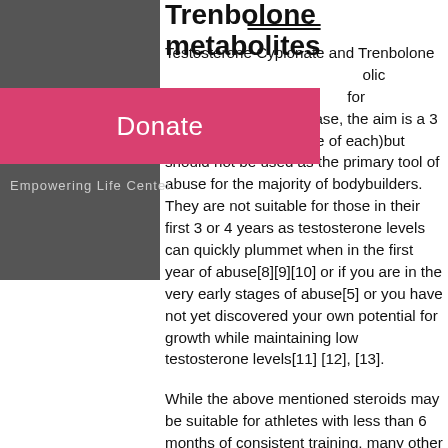Trenbolone metabolites
Testosterone Cypionate and Trenbolone [text continues behind overlay] anabolic [text] for longer cycles (in this case, the aim is a 3 month or 12 week cycle of each)but should not be used as the primary tool of abuse for the majority of bodybuilders. They are not suitable for those in their first 3 or 4 years as testosterone levels can quickly plummet when in the first year of abuse[8][9][10] or if you are in the very early stages of abuse[5] or you have not yet discovered your own potential for growth while maintaining low testosterone levels[11] [12], [13].
While the above mentioned steroids may be suitable for athletes with less than 6 months of consistent training, many other types of bodybuilder/weight lifter do not see immediate results nor enjoy significant benefit from such steroid use. Those who